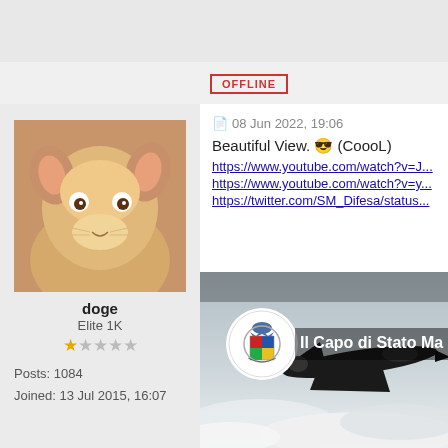[Figure (screenshot): Top grey bar area of a forum page]
OFFLINE
[Figure (photo): Avatar image of a Shiba Inu dog (doge meme)]
doge
Elite 1K
★☆☆☆☆
Posts: 1084
Joined: 13 Jul 2015, 16:07
08 Jun 2022, 19:06
Beautiful View. 😎 (CoooL)
https://www.youtube.com/watch?v=J...
https://www.youtube.com/watch?v=y...
https://twitter.com/SM_Difesa/status...
[Figure (screenshot): Embedded video thumbnail from Twitter/YouTube showing an Italian military jet fighter flying above clouds with a circular Italian Air Force crest logo and text 'Il Capo di Stato Ma...']